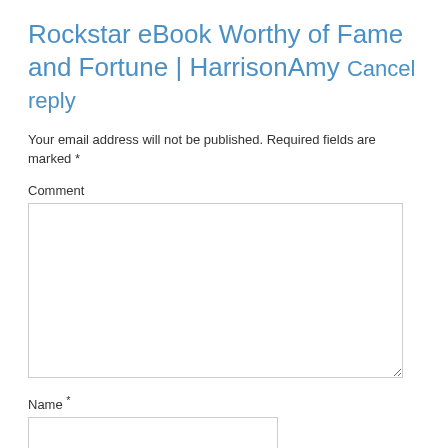Rockstar eBook Worthy of Fame and Fortune | HarrisonAmy Cancel reply
Your email address will not be published. Required fields are marked *
Comment
[Figure (other): Comment text area input box]
Name *
[Figure (other): Name text input field]
Email *
[Figure (other): Email text input field]